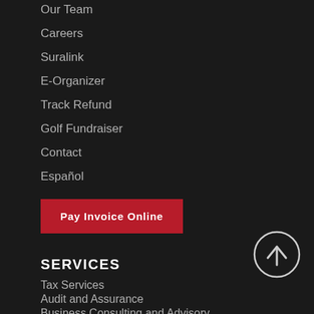Our Team
Careers
Suralink
E-Organizer
Track Refund
Golf Fundraiser
Contact
Español
Pay Invoice Online
SERVICES
Tax Services
Audit and Assurance
Business Consulting and Advisory
Financial Planning
Cost Segregation
[Figure (illustration): Circle with upward arrow icon for scroll to top]